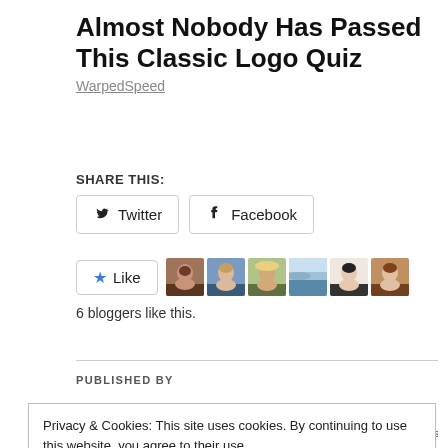Almost Nobody Has Passed This Classic Logo Quiz
WarpedSpeed
SHARE THIS:
Twitter
Facebook
Like
6 bloggers like this.
PUBLISHED BY
Privacy & Cookies: This site uses cookies. By continuing to use this website, you agree to their use.
To find out more, including how to control cookies, see here: Cookie Policy
Close and accept
knitting, my family, our Seaview home, sewing ✦ Alexander Henry, Atropos, beaded bag, Clockwork Orange, Clotho, Dolby